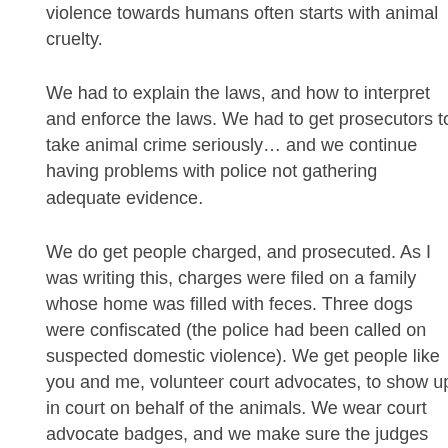violence towards humans often starts with animal cruelty.
We had to explain the laws, and how to interpret and enforce the laws. We had to get prosecutors to take animal crime seriously… and we continue having problems with police not gathering adequate evidence.
We do get people charged, and prosecuted. As I was writing this, charges were filed on a family whose home was filled with feces. Three dogs were confiscated (the police had been called on suspected domestic violence). We get people like you and me, volunteer court advocates, to show up in court on behalf of the animals. We wear court advocate badges, and we make sure the judges know we are there.
Generally, the charge of 'neglect of owners' duties' is an added charge, to dog fighting, other cruelty, or hoarding. Recently, however, a veterinarian had a client charged. An older couple